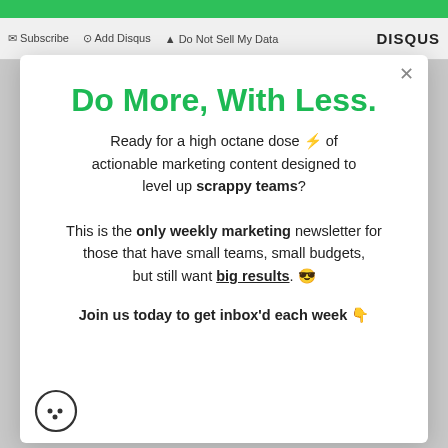Subscribe  Add Disqus  Do Not Sell My Data  DISQUS
Do More, With Less.
Ready for a high octane dose ⚡ of actionable marketing content designed to level up scrappy teams?
This is the only weekly marketing newsletter for those that have small teams, small budgets, but still want big results. 😎
Join us today to get inbox'd each week 👇